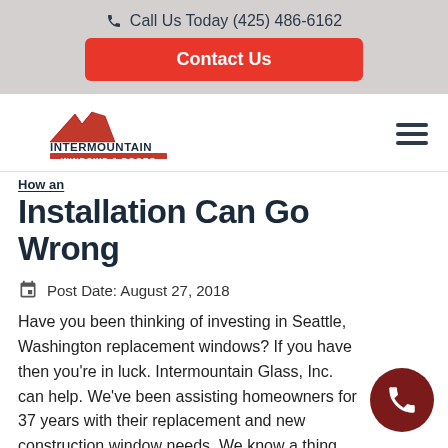Call Us Today (425) 486-6162
Contact Us
[Figure (logo): Intermountain Windows & Doors logo with red mountain silhouette above company name]
How an Installation Can Go Wrong
Post Date: August 27, 2018
Have you been thinking of investing in Seattle, Washington replacement windows? If you have then you're in luck. Intermountain Glass, Inc. can help. We've been assisting homeowners for 37 years with their replacement and new construction window needs. We know a thing